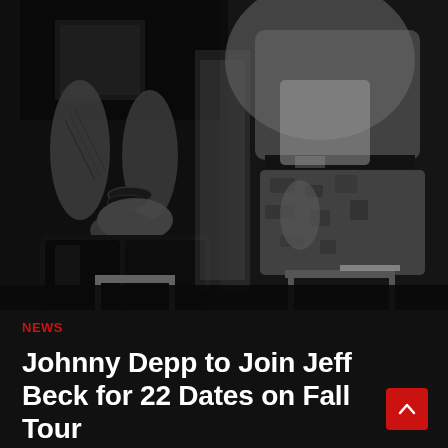[Figure (photo): Black and white photograph of two people seated side by side. Left person has visible tattoos on arms, wearing bracelets, a patterned scarf/shirt, and black leather pants. Right person is wearing a light jacket and camouflage pants. Both are cropped from approximately the waist down, no faces visible.]
NEWS
Johnny Depp to Join Jeff Beck for 22 Dates on Fall Tour